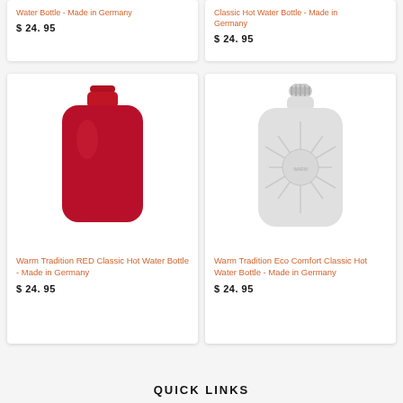Water Bottle - Made in Germany
$ 24. 95
Classic Hot Water Bottle - Made in Germany
$ 24. 95
[Figure (photo): Red classic hot water bottle]
Warm Tradition RED Classic Hot Water Bottle - Made in Germany
$ 24. 95
[Figure (photo): White eco comfort classic hot water bottle with ribbed sunburst pattern and grey screw cap]
Warm Tradition Eco Comfort Classic Hot Water Bottle - Made in Germany
$ 24. 95
QUICK LINKS